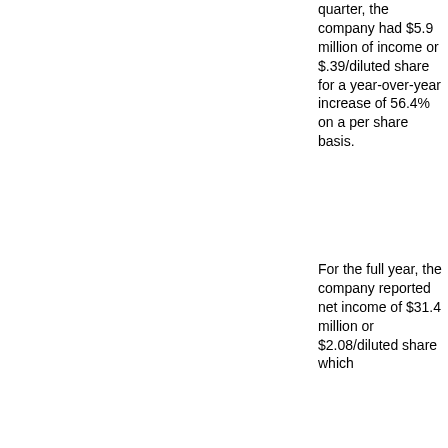quarter, the company had $5.9 million of income or $.39/diluted share for a year-over-year increase of 56.4% on a per share basis.
For the full year, the company reported net income of $31.4 million or $2.08/diluted share which